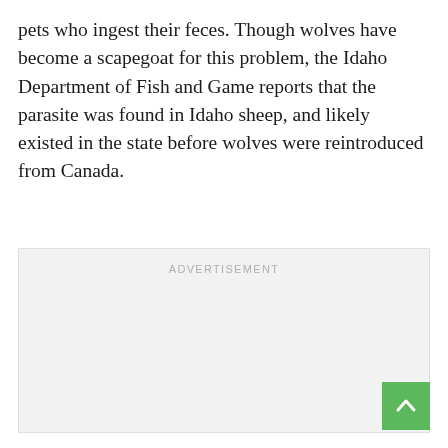pets who ingest their feces. Though wolves have become a scapegoat for this problem, the Idaho Department of Fish and Game reports that the parasite was found in Idaho sheep, and likely existed in the state before wolves were reintroduced from Canada.
[Figure (other): Advertisement placeholder box with 'ADVERTISEMENT' label in light gray text]